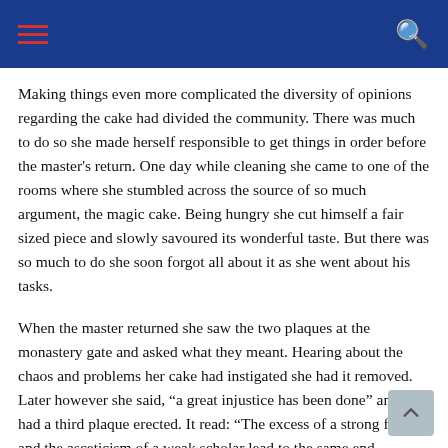Making things even more complicated the diversity of opinions regarding the cake had divided the community. There was much to do so she made herself responsible to get things in order before the master's return. One day while cleaning she came to one of the rooms where she stumbled across the source of so much argument, the magic cake. Being hungry she cut himself a fair sized piece and slowly savoured its wonderful taste. But there was so much to do she soon forgot all about it as she went about his tasks.
When the master returned she saw the two plaques at the monastery gate and asked what they meant. Hearing about the chaos and problems her cake had instigated she had it removed. Later however she said, “a great injustice has been done” and she had a third plaque erected. It read: “The excess of a strong fool and the asceticism of a weak scholar lead to the same end.